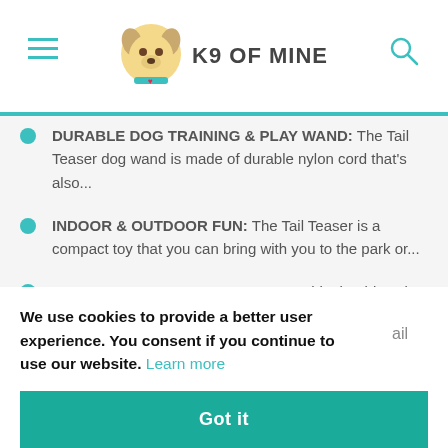K9 OF MINE
DURABLE DOG TRAINING & PLAY WAND: The Tail Teaser dog wand is made of durable nylon cord that's also...
INDOOR & OUTDOOR FUN: The Tail Teaser is a compact toy that you can bring with you to the park or...
PLUSH TOYS SQUEAK & RATTLE: This durable nylon dog lure wand comes with two faux fur
We use cookies to provide a better user experience. You consent if you continue to use our website. Learn more
Got it